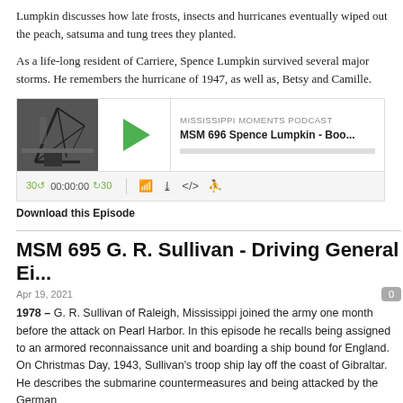Lumpkin discusses how late frosts, insects and hurricanes eventually wiped out the peach, satsuma and tung trees they planted.
As a life-long resident of Carriere, Spence Lumpkin survived several major storms. He remembers the hurricane of 1947, as well as, Betsy and Camille.
[Figure (screenshot): Podcast player widget for Mississippi Moments Podcast, episode MSM 696 Spence Lumpkin - Boo... with play button, progress bar, and playback controls showing 00:00:00]
Download this Episode
MSM 695 G. R. Sullivan - Driving General Ei...
Apr 19, 2021
1978 – G. R. Sullivan of Raleigh, Mississippi joined the army one month before the attack on Pearl Harbor. In this episode he recalls being assigned to an armored reconnaissance unit and boarding a ship bound for England. On Christmas Day, 1943, Sullivan's troop ship lay off the coast of Gibraltar. He describes the submarine countermeasures and being attacked by the German